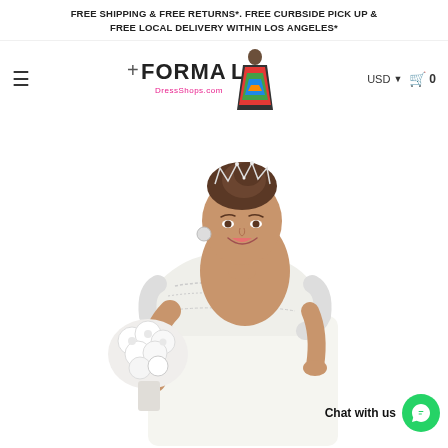FREE SHIPPING & FREE RETURNS*. FREE CURBSIDE PICK UP & FREE LOCAL DELIVERY WITHIN LOS ANGELES*
[Figure (logo): FormalDressShops.com logo with stylized female figure in colorful dress]
[Figure (photo): Bride wearing off-shoulder white lace wedding gown, holding white flower bouquet, wearing tiara, smiling]
Chat with us